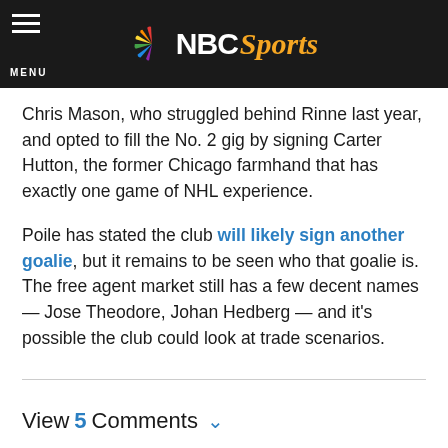NBC Sports
Chris Mason, who struggled behind Rinne last year, and opted to fill the No. 2 gig by signing Carter Hutton, the former Chicago farmhand that has exactly one game of NHL experience.
Poile has stated the club will likely sign another goalie, but it remains to be seen who that goalie is. The free agent market still has a few decent names — Jose Theodore, Johan Hedberg — and it's possible the club could look at trade scenarios.
View 5 Comments